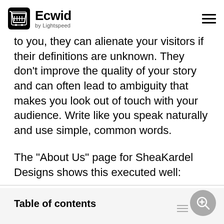Ecwid by Lightspeed
to you, they can alienate your visitors if their definitions are unknown. They don't improve the quality of your story and can often lead to ambiguity that makes you look out of touch with your audience. Write like you speak naturally and use simple, common words.

The “About Us” page for SheaKardel Designs shows this executed well:
Table of contents